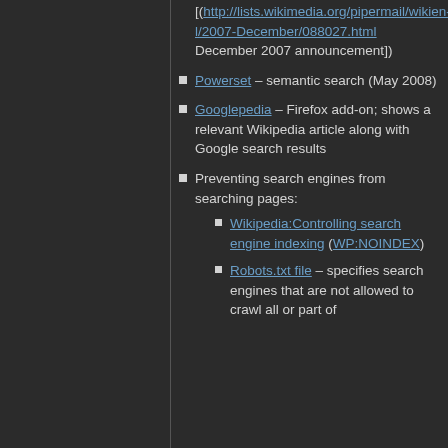[(http://lists.wikimedia.org/pipermail/wikien-l/2007-December/088027.html December 2007 announcement])
Powerset – semantic search (May 2008)
Googlepedia – Firefox add-on; shows a relevant Wikipedia article along with Google search results
Preventing search engines from searching pages:
Wikipedia:Controlling search engine indexing (WP:NOINDEX)
Robots.txt file – specifies search engines that are not allowed to crawl all or part of